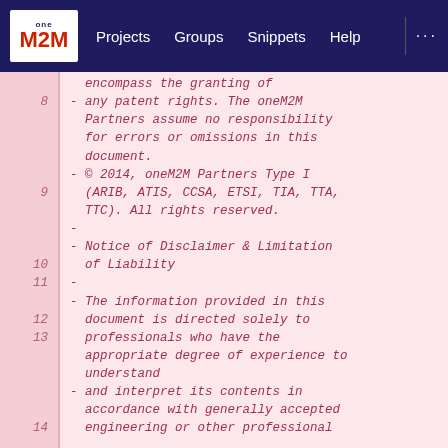oneM2M  Projects  Groups  Snippets  Help  ...
8  - any patent rights. The oneM2M Partners assume no responsibility for errors or omissions in this document.
9  - © 2014, oneM2M Partners Type I (ARIB, ATIS, CCSA, ETSI, TIA, TTA, TTC). All rights reserved.
10  -
11  - Notice of Disclaimer & Limitation of Liability
12  -
13  - The information provided in this document is directed solely to professionals who have the appropriate degree of experience to understand
14  - and interpret its contents in accordance with generally accepted engineering or other professional